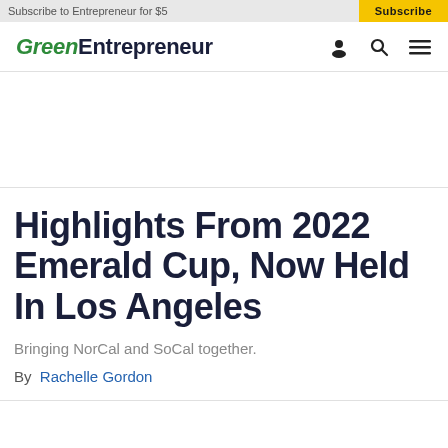Subscribe to Entrepreneur for $5   Subscribe
GreenEntrepreneur
Highlights From 2022 Emerald Cup, Now Held In Los Angeles
Bringing NorCal and SoCal together.
By Rachelle Gordon